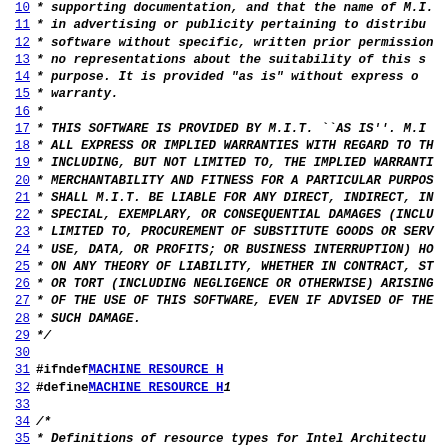Source code listing showing C header file with MIT license and resource type definitions
Lines 10-42 of machine_resource.h showing MIT license disclaimer and #define macros for SYS_RES_IRQ, SYS_RES_DRQ, SYS_RES_MEMORY, SYS_RES_IOPORT